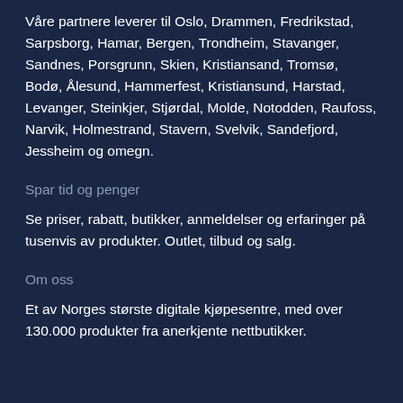Våre partnere leverer til Oslo, Drammen, Fredrikstad, Sarpsborg, Hamar, Bergen, Trondheim, Stavanger,  Sandnes, Porsgrunn, Skien, Kristiansand, Tromsø, Bodø, Ålesund, Hammerfest, Kristiansund, Harstad, Levanger, Steinkjer, Stjørdal, Molde, Notodden, Raufoss, Narvik, Holmestrand, Stavern, Svelvik, Sandefjord, Jessheim og omegn.
Spar tid og penger
Se priser, rabatt, butikker, anmeldelser og erfaringer på tusenvis av produkter. Outlet, tilbud og salg.
Om oss
Et av Norges største digitale kjøpesentre, med over 130.000 produkter fra anerkjente nettbutikker.